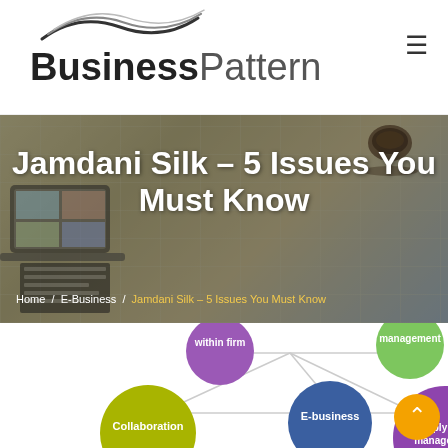[Figure (logo): BusinessPattern logo with swirl graphic above bold text reading BusinessPattern]
[Figure (photo): Hero banner with map background, overlay text: Jamdani Silk – 5 Issues You Must Know, breadcrumb: Home / E-Business / Jamdani Silk – 5 Issues You Must Know]
Jamdani Silk – 5 Issues You Must Know
Home / E-Business / Jamdani Silk – 5 Issues You Must Know
[Figure (infographic): Partial network/mind-map diagram showing interconnected circles: 'within firm' (purple), 'management' (green), 'Collaboration' (olive/green), 'E-business' (blue, center), 'Supply chain management' (purple). Orange back-to-top button visible at bottom right.]